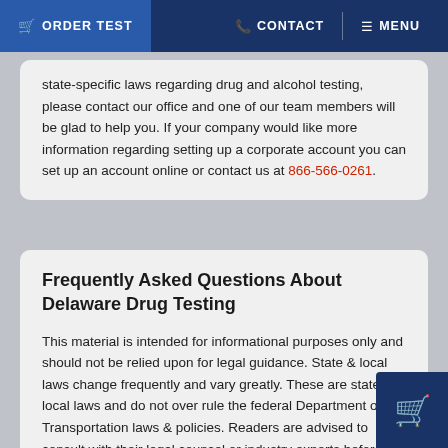ORDER TEST   CONTACT   MENU
state-specific laws regarding drug and alcohol testing, please contact our office and one of our team members will be glad to help you. If your company would like more information regarding setting up a corporate account you can set up an account online or contact us at 866-566-0261.
Frequently Asked Questions About Delaware Drug Testing
This material is intended for informational purposes only and should not be relied upon for legal guidance. State & local laws change frequently and vary greatly. These are state & local laws and do not over rule the federal Department of Transportation laws & policies. Readers are advised to consult with their legal counsel or industry experts before acting based on this information. Last Updated June 2019
Delaware Drug Testing FAQs